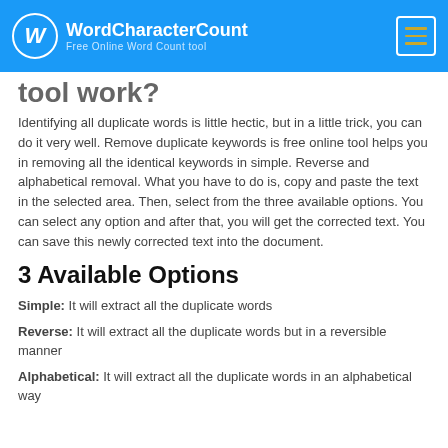WordCharacterCount — Free Online Word Count tool
tool work?
Identifying all duplicate words is little hectic, but in a little trick, you can do it very well. Remove duplicate keywords is free online tool helps you in removing all the identical keywords in simple. Reverse and alphabetical removal. What you have to do is, copy and paste the text in the selected area. Then, select from the three available options. You can select any option and after that, you will get the corrected text. You can save this newly corrected text into the document.
3 Available Options
Simple: It will extract all the duplicate words
Reverse: It will extract all the duplicate words but in a reversible manner
Alphabetical: It will extract all the duplicate words in an alphabetical way